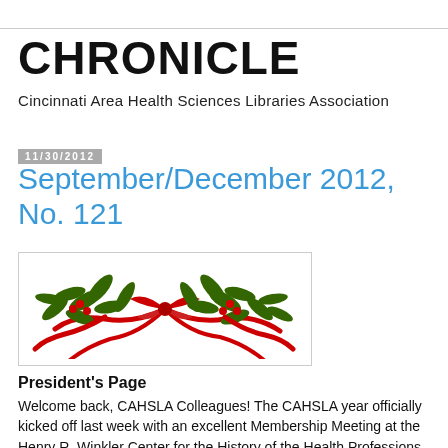CHRONICLE
Cincinnati Area Health Sciences Libraries Association
11/30/2012
September/December 2012, No. 121
[Figure (illustration): Decorative holly and ribbon divider illustration with red ribbons and green holly leaves]
President's Page
Welcome back, CAHSLA Colleagues! The CAHSLA year officially kicked off last week with an excellent Membership Meeting at the Henry R. Winkler Center for the History of the Health Professions. Thanks again to our gracious hosts Doris Haag, Laura Laugle, and Mary Piper.  Additionally, I want to thank Edith Starbuck, Lisa McCormick, and the